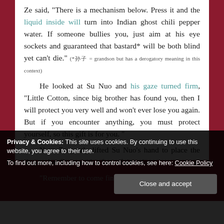Ze said, "There is a mechanism below. Press it and the liquid inside will turn into Indian ghost chili pepper water. If someone bullies you, just aim at his eye sockets and guaranteed that bastard* will be both blind yet can't die." (*孙子 = grandson but has a derogatory meaning in this context)
He looked at Su Nuo and his gaze turned firm, "Little Cotton, since big brother has found you, then I will protect you very well and won't ever lose you again. But if you encounter anything, you must protect yourself, so this gift is for you. "
Yuan Ze gently lifted Su Nuo's hand to place the ring on her finger with a face of devotion.
"Remember to come find me if it's all used up
Privacy & Cookies: This site uses cookies. By continuing to use this website, you agree to their use.
To find out more, including how to control cookies, see here: Cookie Policy